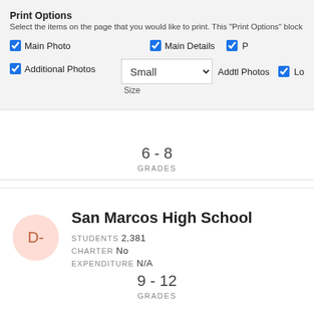Print Options
Select the items on the page that you would like to print. This "Print Options" block
Main Photo
Main Details
Additional Photos
Small – Size dropdown, Addtl Photos, Lo...
Size
6 - 8
GRADES
San Marcos High School
STUDENTS 2,381
CHARTER No
EXPENDITURE N/A
D-
9 - 12
GRADES